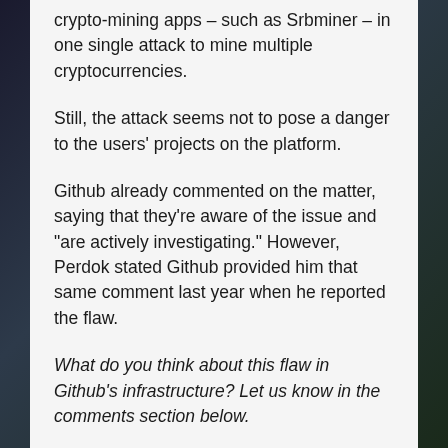crypto-mining apps – such as Srbminer – in one single attack to mine multiple cryptocurrencies.
Still, the attack seems not to pose a danger to the users' projects on the platform.
Github already commented on the matter, saying that they're aware of the issue and "are actively investigating." However, Perdok stated Github provided him that same comment last year when he reported the flaw.
What do you think about this flaw in Github's infrastructure? Let us know in the comments section below.
FILED UNDER: CLOUD MINING, CRYPTO MINERS, CRYPTO MINING, CRYPTOJACKING, CYBER ATTACKS, ENGLISH, GITHUB, GITHUB REPOSITORY, HACKERS, NEWS BITCOIN, SECURITY